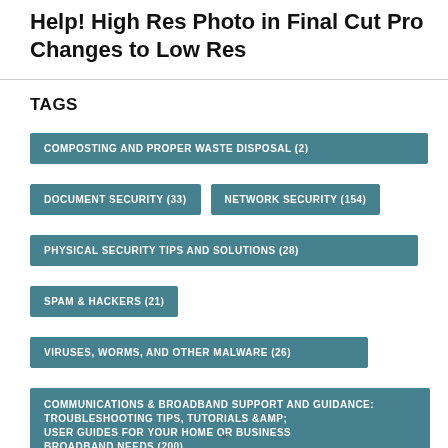Help! High Res Photo in Final Cut Pro Changes to Low Res
TAGS
COMPOSTING AND PROPER WASTE DISPOSAL (2)
DOCUMENT SECURITY (33)
NETWORK SECURITY (154)
PHYSICAL SECURITY TIPS AND SOLUTIONS (28)
SPAM & HACKERS (21)
VIRUSES, WORMS, AND OTHER MALWARE (26)
COMMUNICATIONS & BROADBAND SUPPORT AND GUIDANCE: TROUBLESHOOTING TIPS, TUTORIALS &AMP; USER GUIDES FOR YOUR HOME OR BUSINESS BROADBAND NEEDS (200)